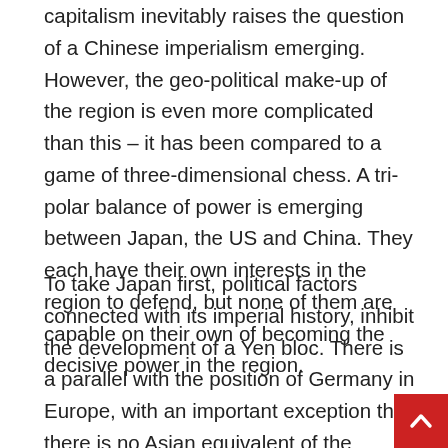capitalism inevitably raises the question of a Chinese imperialism emerging. However, the geo-political make-up of the region is even more complicated than this – it has been compared to a game of three-dimensional chess. A tri-polar balance of power is emerging between Japan, the US and China. They each have their own interests in the region to defend, but none of them are capable on their own of becoming the decisive power in the region.
To take Japan first, political factors connected with its imperial history, inhibit the development of a Yen bloc. There is a parallel with the position of Germany in Europe, with an important exception that there is no Asian equivalent of the German-French axis which allows German capitalism to pursue its ambitions through the agency of the EU. Korea was occupied by the Japanese from 1910 to 1945, and the antagonisms between them still play an important role in their respective foreign policy. Japan is, for example, less